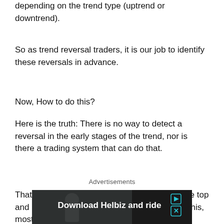depending on the trend type (uptrend or downtrend).
So as trend reversal traders, it is our job to identify these reversals in advance.
Now, How to do this?
Here is the truth: There is no way to detect a reversal in the early stages of the trend, nor is there a trading system that can do that.
Advertisements
That implies that it is not possible to capture the top and bottom in reversal trading. If you try to do this, most of the time, you're going to
[Figure (screenshot): Advertisement banner for 'Download Helbiz and ride' with a dark background showing a person, play button and close button icons in teal/cyan.]